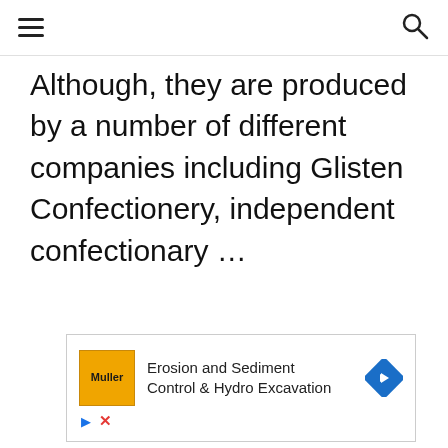≡ [hamburger menu] [search icon]
Although, they are produced by a number of different companies including Glisten Confectionery, independent confectionary …
[Figure (infographic): Advertisement banner for Muller Erosion and Sediment Control & Hydro Excavation. Shows yellow Muller logo on left, text in center, and blue diamond-shaped navigation arrow icon on right. Below are play and close (X) controls.]